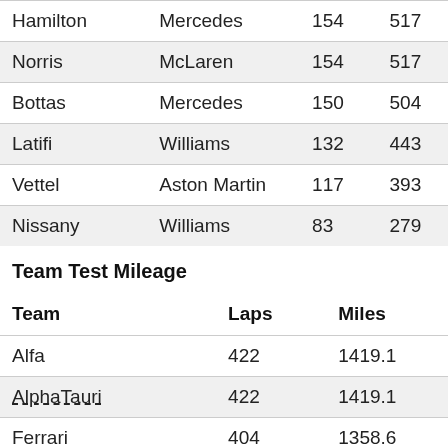| Driver | Team | Laps | Miles |
| --- | --- | --- | --- |
| Hamilton | Mercedes | 154 | 517 |
| Norris | McLaren | 154 | 517 |
| Bottas | Mercedes | 150 | 504 |
| Latifi | Williams | 132 | 443 |
| Vettel | Aston Martin | 117 | 393 |
| Nissany | Williams | 83 | 279 |
Team Test Mileage
| Team | Laps | Miles |
| --- | --- | --- |
| Alfa | 422 | 1419.1 |
| AlphaTauri | 422 | 1419.1 |
| Ferrari | 404 | 1358.6 |
| Alpine | 396 | 1331.7 |
| Haas | 394 | 1325.0 |
| Williams | 373 | 1254.4 |